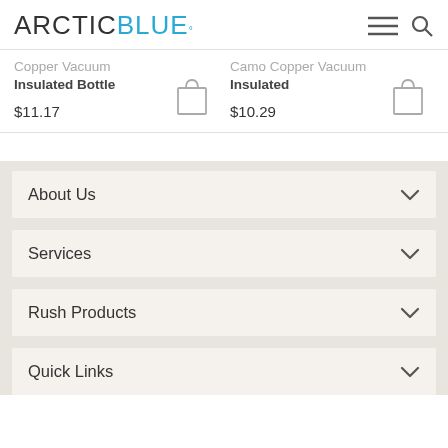ARCTIC BLUE°
Copper Vacuum Insulated Bottle
$11.17
Camo Copper Vacuum Insulated
$10.29
About Us
Services
Rush Products
Quick Links